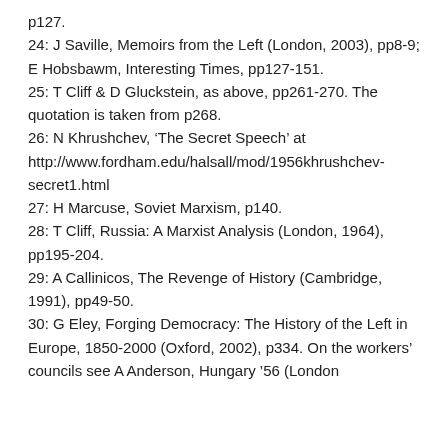p127.
24: J Saville, Memoirs from the Left (London, 2003), pp8-9; E Hobsbawm, Interesting Times, pp127-151.
25: T Cliff & D Gluckstein, as above, pp261-270. The quotation is taken from p268.
26: N Khrushchev, ‘The Secret Speech’ at http://www.fordham.edu/halsall/mod/1956khrushchev-secret1.html
27: H Marcuse, Soviet Marxism, p140.
28: T Cliff, Russia: A Marxist Analysis (London, 1964), pp195-204.
29: A Callinicos, The Revenge of History (Cambridge, 1991), pp49-50.
30: G Eley, Forging Democracy: The History of the Left in Europe, 1850-2000 (Oxford, 2002), p334. On the workers’ councils see A Anderson, Hungary ’56 (London